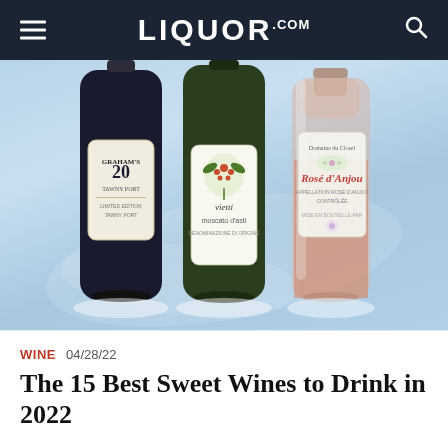LIQUOR.COM
[Figure (photo): Three wine bottles displayed on a light blue background: Graham's 20 Tawny Port (dark bottle, left), Vietti Moscato d'Asti (green bottle, center), and Domaine du Closel Rosé d'Anjou (pink wine in clear bottle, right).]
WINE  04/28/22
The 15 Best Sweet Wines to Drink in 2022
[Figure (other): Dotdash Meredith advertisement banner: 'We help people find answers, solve problems and get inspired.' with Dotdash Meredith logo.]